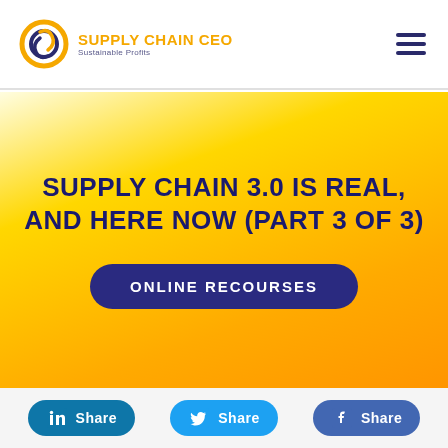[Figure (logo): Supply Chain CEO logo with orange circular icon and text 'SUPPLY CHAIN CEO / Sustainable Profits']
SUPPLY CHAIN 3.0 IS REAL, AND HERE NOW (Part 3 Of 3)
ONLINE RECOURSES
Share (LinkedIn)
Share (Twitter)
Share (Facebook)